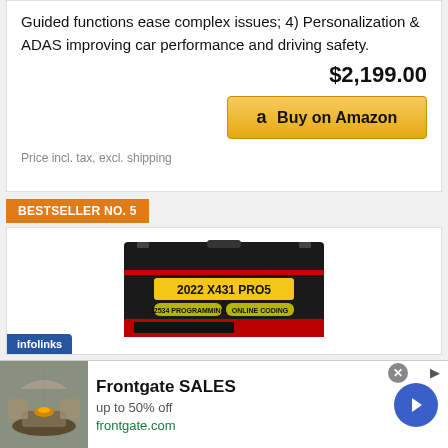Guided functions ease complex issues; 4) Personalization & ADAS improving car performance and driving safety.
$2,199.00
Buy on Amazon
Price incl. tax, excl. shipping
BESTSELLER NO. 5
[Figure (photo): Product image of 2022 X431 PRO5 diagnostic tool in black case with yellow label showing J2534 PROGRAMMING and ONLINE CODING tags]
infolinks
[Figure (photo): Advertisement showing outdoor furniture with fire pit]
Frontgate SALES
up to 50% off
frontgate.com